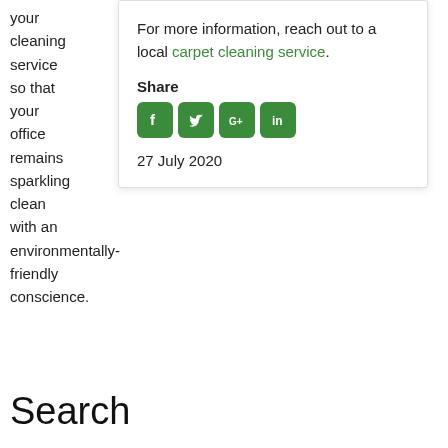your cleaning service so that your office remains sparkling clean with an environmentally-friendly conscience.
For more information, reach out to a local carpet cleaning service.
Share
[Figure (other): Social media share icons: Facebook, Twitter, Google+, LinkedIn — all in green rounded squares]
27 July 2020
Search